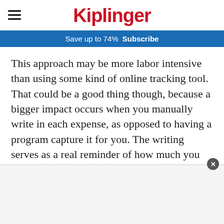Kiplinger
Save up to 74%  Subscribe
This approach may be more labor intensive than using some kind of online tracking tool. That could be a good thing though, because a bigger impact occurs when you manually write in each expense, as opposed to having a program capture it for you. The writing serves as a real reminder of how much you are actually spending, including the expenses you often don't even think about. Things like home